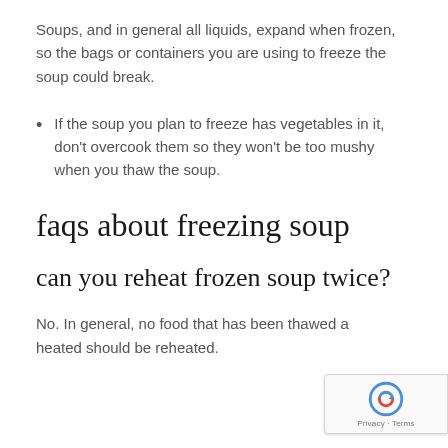Soups, and in general all liquids, expand when frozen, so the bags or containers you are using to freeze the soup could break.
If the soup you plan to freeze has vegetables in it, don't overcook them so they won't be too mushy when you thaw the soup.
faqs about freezing soup
can you reheat frozen soup twice?
No. In general, no food that has been thawed and heated should be reheated.